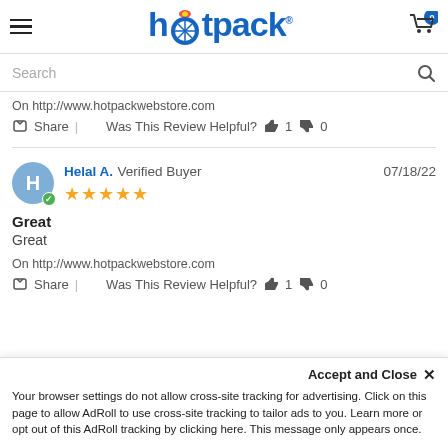hotpack
Search
On http://www.hotpackwebstore.com
Share | Was This Review Helpful? 1 0
Helal A. Verified Buyer 07/18/22 ★★★★★ Great Great On http://www.hotpackwebstore.com Share | Was This Review Helpful? 1 0
Accept and Close ✕ Your browser settings do not allow cross-site tracking for advertising. Click on this page to allow AdRoll to use cross-site tracking to tailor ads to you. Learn more or opt out of this AdRoll tracking by clicking here. This message only appears once.